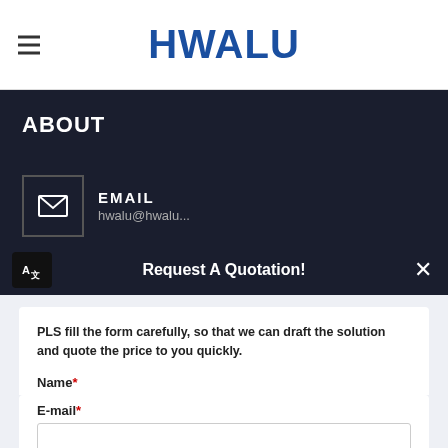[Figure (logo): HWALU company logo in bold blue text]
ABOUT
EMAIL
Request A Quotation!
PLS fill the form carefully, so that we can draft the solution and quote the price to you quickly.
Name*
E-mail*